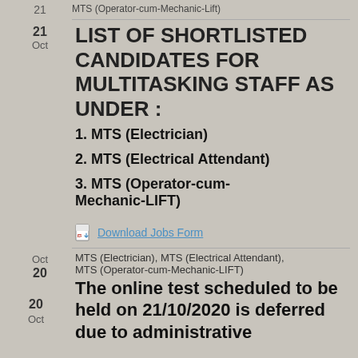MTS (Operator-cum-Mechanic-Lift)
21
Oct
LIST OF SHORTLISTED CANDIDATES FOR MULTITASKING STAFF AS UNDER :
1. MTS (Electrician)
2. MTS (Electrical Attendant)
3. MTS (Operator-cum-Mechanic-LIFT)
[Figure (other): PDF icon link: Download Jobs Form]
Oct
20
MTS (Electrician), MTS (Electrical Attendant), MTS (Operator-cum-Mechanic-LIFT)
20
Oct
The online test scheduled to be held on 21/10/2020 is deferred due to administrative